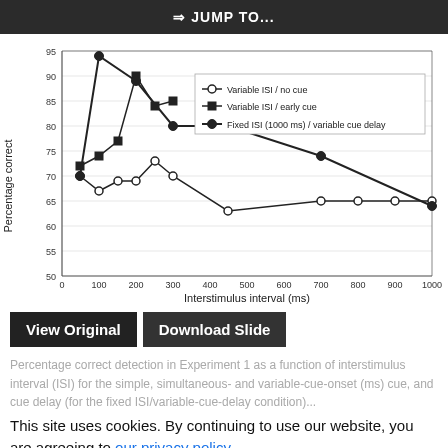⇒ JUMP TO...
[Figure (line-chart): ]
View Original
Download Slide
Percentage correct detection in Experiment 1 as a function of interstimulus interval (ISI) for the simple, simultaneous- and variable-cue-onset (ms) cue, and cue delay (for the fixed ISI/variable-cue-delay condition)...
This site uses cookies. By continuing to use our website, you are agreeing to our privacy policy. Accept